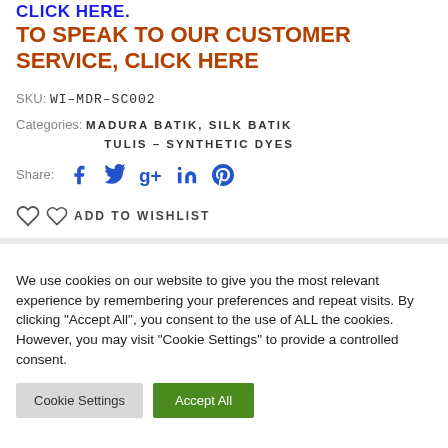CLICK HERE.
TO SPEAK TO OUR CUSTOMER SERVICE, CLICK HERE
SKU: WI-MDR-SC002
Categories: MADURA BATIK, SILK BATIK TULIS – SYNTHETIC DYES
Share: [Facebook] [Twitter] [Google+] [LinkedIn] [Pinterest]
♡ ♡ ADD TO WISHLIST
We use cookies on our website to give you the most relevant experience by remembering your preferences and repeat visits. By clicking "Accept All", you consent to the use of ALL the cookies. However, you may visit "Cookie Settings" to provide a controlled consent.
Cookie Settings | Accept All